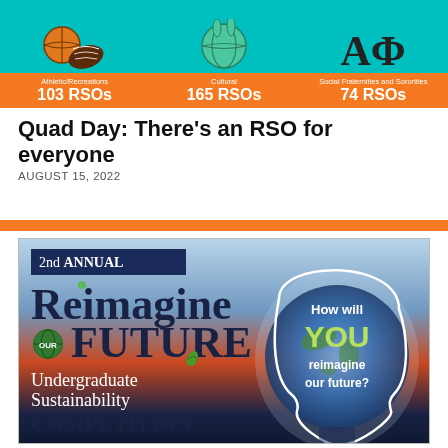[Figure (infographic): Teal infographic banner showing RSO categories: Athletic/Recreations 103 RSOs, Cultural 165 RSOs, Social Fraternities and Sororities 74 RSOs with icons above each category]
Quad Day: There’s an RSO for everyone
AUGUST 15, 2022
[Figure (infographic): 2nd Annual Reimagine Our Future Undergraduate Sustainability Competition poster. Left side shows bold text 'Reimagine OUR FUTURE' and 'Undergraduate Sustainability COMPETITION'. Right side shows a human head silhouette with Earth globe and text 'How will YOU reimagine our future?']